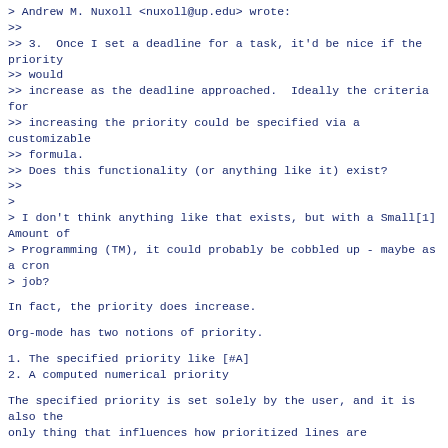> Andrew M. Nuxoll <nuxoll@up.edu> wrote:
>>
>> 3.  Once I set a deadline for a task, it'd be nice if the priority
>> would
>> increase as the deadline approached.  Ideally the criteria for
>> increasing the priority could be specified via a customizable
>> formula.
>> Does this functionality (or anything like it) exist?
>>
>
> I don't think anything like that exists, but with a Small[1] Amount of
> Programming (TM), it could probably be cobbled up - maybe as a cron
> job?
In fact, the priority does increase.
Org-mode has two notions of priority.
1. The specified priority like [#A]
2. A computed numerical priority
The specified priority is set solely by the user, and it is also the
only thing that influences how prioritized lines are